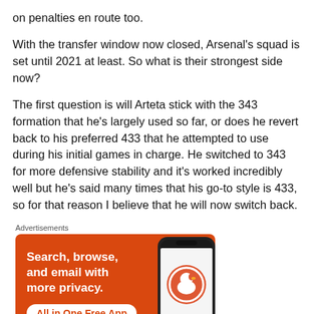on penalties en route too.
With the transfer window now closed, Arsenal's squad is set until 2021 at least. So what is their strongest side now?
The first question is will Arteta stick with the 343 formation that he's largely used so far, or does he revert back to his preferred 433 that he attempted to use during his initial games in charge. He switched to 343 for more defensive stability and it's worked incredibly well but he's said many times that his go-to style is 433, so for that reason I believe that he will now switch back.
[Figure (infographic): DuckDuckGo advertisement on orange background with text 'Search, browse, and email with more privacy. All in One Free App' and a phone mockup showing the DuckDuckGo logo.]
REPORT THIS AD